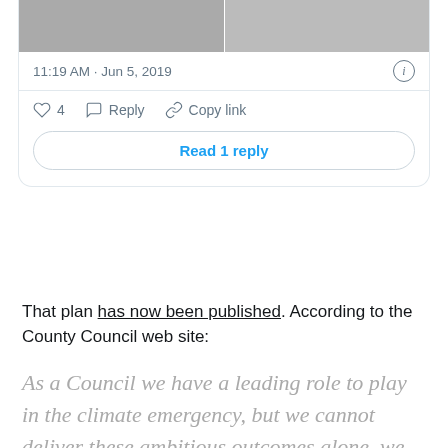[Figure (screenshot): Twitter/social media post card showing two cropped images at top, a timestamp of 11:19 AM · Jun 5, 2019 with an info icon, action bar with heart (4), reply, and copy link buttons, and a 'Read 1 reply' button.]
That plan has now been published. According to the County Council web site:
As a Council we have a leading role to play in the climate emergency, but we cannot deliver these ambitious outcomes alone, we will need support from all of our residents – from our communities, businesses, schools, public sector partners, the voluntary sector and